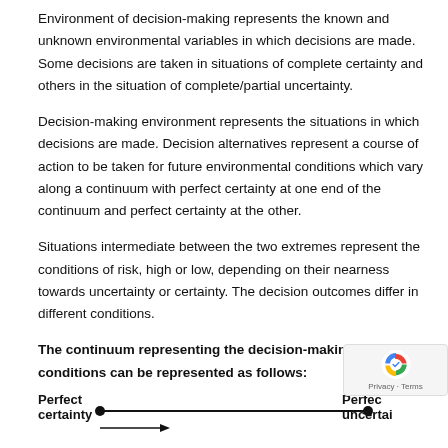Environment of decision-making represents the known and unknown environmental variables in which decisions are made. Some decisions are taken in situations of complete certainty and others in the situation of complete/partial uncertainty.
Decision-making environment represents the situations in which decisions are made. Decision alternatives represent a course of action to be taken for future environmental conditions which vary along a continuum with perfect certainty at one end of the continuum and perfect certainty at the other.
Situations intermediate between the two extremes represent the conditions of risk, high or low, depending on their nearness towards uncertainty or certainty. The decision outcomes differ in different conditions.
The continuum representing the decision-making conditions can be represented as follows:
[Figure (infographic): A horizontal line continuum with a filled circle at each end. Left end labeled 'Perfect certainty' and right end labeled 'Perfect uncertainty'. The line represents the decision-making conditions continuum.]